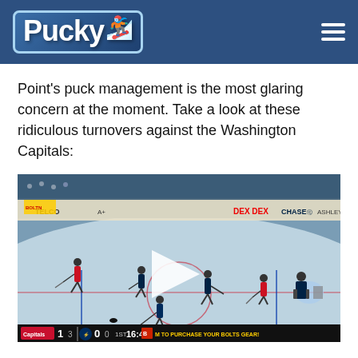Pucky
Point’s puck management is the most glaring concern at the moment. Take a look at these ridiculous turnovers against the Washington Capitals:
[Figure (screenshot): Hockey game video screenshot showing an NHL rink with players from Tampa Bay Lightning vs Washington Capitals. Score shows Capitals 1 (SOG 3) vs Lightning 0 (SOG 0), 1st period, 16:47. Play button overlay in center. Scoreboard advertisement: M TO PURCHASE YOUR BOLTS GEAR!]
Typically a sound decision-maker, he’s gone completely off the